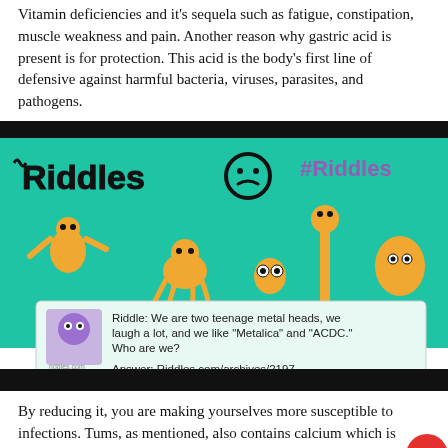Vitamin deficiencies and it's sequela such as fatigue, constipation, muscle weakness and pain. Another reason why gastric acid is present is for protection. This acid is the body's first line of defensive against harmful bacteria, viruses, parasites, and pathogens.
[Figure (screenshot): Screenshot of Riddles.com social media post showing cartoon characters on a teal background with the riddle: 'We are two teenage metal heads, we laugh a lot, and we like "Metalica" and "ACDC." Who are we?' Answer: Riddles.com/archives/2197. The hashtag #Riddles appears in the top right.]
By reducing it, you are making yourselves more susceptible to infections. Tums, as mentioned, also contains calcium which is absorbed into the body. Although